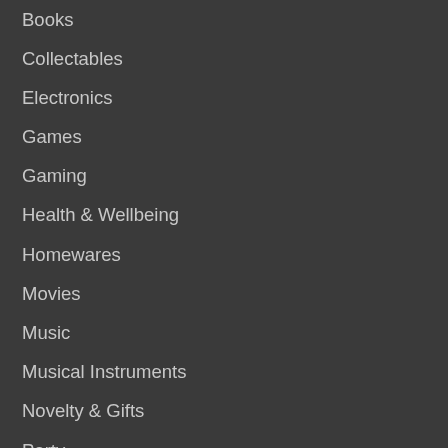Books
Collectables
Electronics
Games
Gaming
Health & Wellbeing
Homewares
Movies
Music
Musical Instruments
Novelty & Gifts
Party
Pop Vinyl
Stationery
Toys
TV